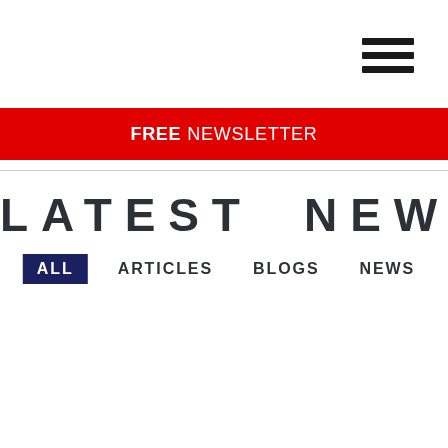[Figure (other): Hamburger menu icon — three horizontal dark bars stacked vertically, top-right corner]
FREE NEWSLETTER
LATEST NEWS
ALL   ARTICLES   BLOGS   NEWS